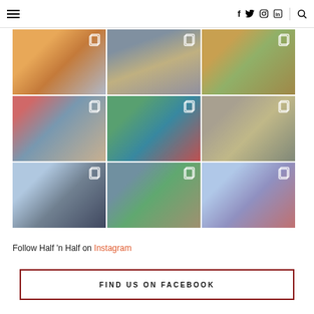Navigation header with hamburger menu, social icons (f, twitter, instagram, linkedin), and search icon
[Figure (photo): 3x3 Instagram photo grid showing: row1: book cover 'Lessons in Chemistry', street scene, bookstore; row2: group of girls, kayaking scene, forest/rocky cliff; row3: group selfie outdoors, indoor dining, two people on overlook]
Follow Half 'n Half on Instagram
FIND US ON FACEBOOK